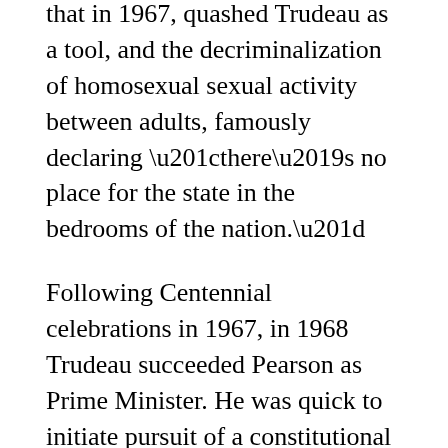that in 1967, quashed Trudeau as a tool, and the decriminalization of homosexual sexual activity between adults, famously declaring “there’s no place for the state in the bedrooms of the nation.”
Following Centennial celebrations in 1967, in 1968 Trudeau succeeded Pearson as Prime Minister. He was quick to initiate pursuit of a constitutional bill of rights as part of bringing the Canadian constitution under Canadian control. A 1971 effort gave Ontario and Quebec each a veto. Quebec’s premier, Robert Bourassa, exercised it. Trudeau would not repeat that mistake in the next round of negotiations. A decade later, following the